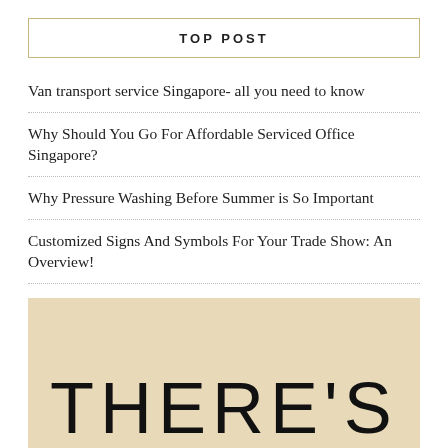TOP POST
Van transport service  Singapore- all you need to know
Why Should You Go For Affordable Serviced Office Singapore?
Why Pressure Washing Before Summer is So Important
Customized Signs And Symbols For Your Trade Show: An Overview!
The Need For Construction Cleaning Services In Houston, TX
[Figure (photo): Tan/kraft paper background with large bold sans-serif text reading THERE'S]